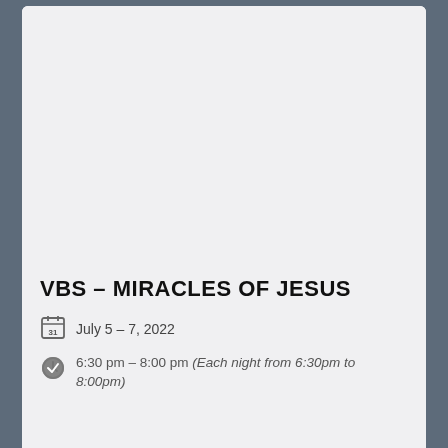[Figure (logo): Miracles of Jesus VBS logo with sunburst rays and text MIRACLES of Jesus with fish, cross, heart, and lightbulb icons in teal color]
VBS – MIRACLES OF JESUS
July 5 – 7, 2022
6:30 pm – 8:00 pm (Each night from 6:30pm to 8:00pm)